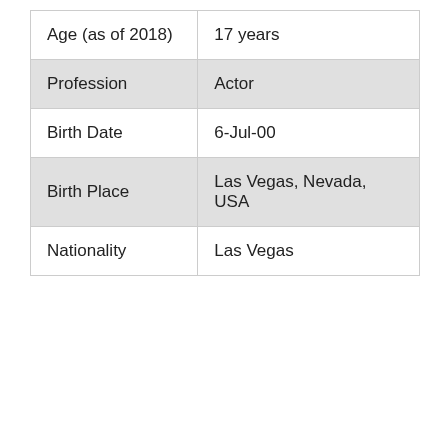| Age (as of 2018) | 17 years |
| Profession | Actor |
| Birth Date | 6-Jul-00 |
| Birth Place | Las Vegas, Nevada, USA |
| Nationality | Las Vegas |